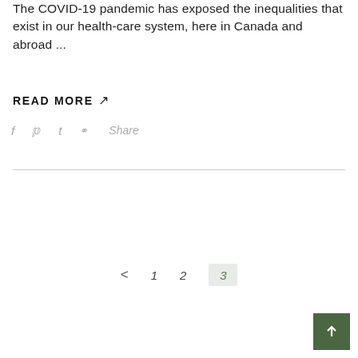The COVID-19 pandemic has exposed the inequalities that exist in our health-care system, here in Canada and abroad ...
READ MORE ↗
f  t  ℘  Share
< 1 2 3